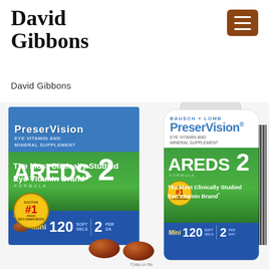David Gibbons
David Gibbons
[Figure (photo): PreserVision AREDS 2 Formula Eye Vitamin and Mineral Supplement product photo showing a box and bottle, both with 'Doctor #1 Brand Recommended' seal, 120 Mini Soft Gels, 2 Per Day, with text 'The Most Clinically Studied Eye Vitamin Brand'. Two brown soft gel capsules shown in the foreground. Footnote: *Data on file.]